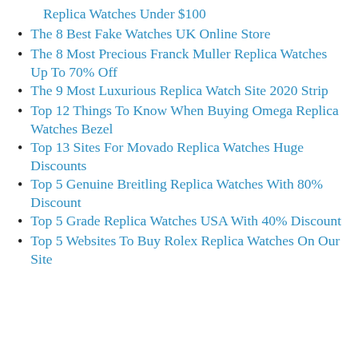Replica Watches Under $100
The 8 Best Fake Watches UK Online Store
The 8 Most Precious Franck Muller Replica Watches Up To 70% Off
The 9 Most Luxurious Replica Watch Site 2020 Strip
Top 12 Things To Know When Buying Omega Replica Watches Bezel
Top 13 Sites For Movado Replica Watches Huge Discounts
Top 5 Genuine Breitling Replica Watches With 80% Discount
Top 5 Grade Replica Watches USA With 40% Discount
Top 5 Websites To Buy Rolex Replica Watches On Our Site